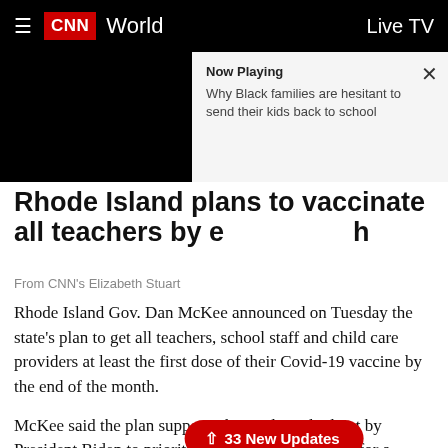CNN World | Live TV
[Figure (screenshot): CNN video thumbnail - black rectangle representing a video player]
Now Playing
Why Black families are hesitant to send their kids back to school
Rhode Island plans to vaccinate all teachers by end of Month
↑ 33 New Updates
From CNN's Elizabeth Stuart
Rhode Island Gov. Dan McKee announced on Tuesday the state's plan to get all teachers, school staff and child care providers at least the first dose of their Covid-19 vaccine by the end of the month.
McKee said the plan supports the roadmap laid out by President Biden to prioritize teachers and to strive for a higher teacher vaccination rate.